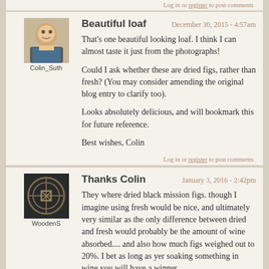Log in or register to post comments
[Figure (photo): Avatar photo of Colin Sutherland, a man in a suit]
Beautiful loaf
December 30, 2015 - 4:57am
Colin_Suth
That's one beautiful looking loaf.  I think I can almost taste it just from the photographs!

Could I ask whether these are dried figs, rather than fresh? (You may consider amending the original blog entry to clarify too).

Looks absolutely delicious, and will bookmark this for future reference.

Best wishes, Colin
Log in or register to post comments
[Figure (illustration): Avatar icon showing a circular symbol on dark background, WoodenS]
Thanks Colin
January 3, 2016 - 2:42pm
WoodenS
They where dried black mission figs. though I imagine using fresh would be nice, and ultimately very similar as the only difference between dried and fresh would probably be the amount of wine absorbed.... and also how much figs weighed out to 20%. I bet as long as yer soaking something in wine you will have a winner